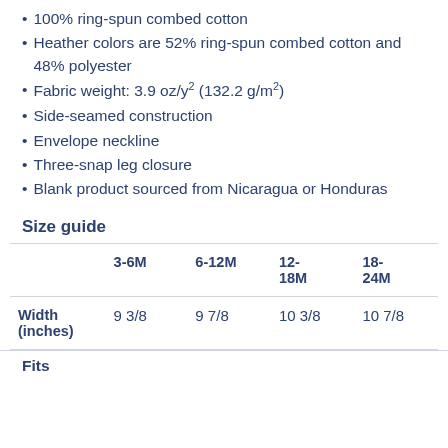100% ring-spun combed cotton
Heather colors are 52% ring-spun combed cotton and 48% polyester
Fabric weight: 3.9 oz/y² (132.2 g/m²)
Side-seamed construction
Envelope neckline
Three-snap leg closure
Blank product sourced from Nicaragua or Honduras
Size guide
|  | 3-6M | 6-12M | 12-18M | 18-24M |
| --- | --- | --- | --- | --- |
| Width (inches) | 9 3/8 | 9 7/8 | 10 3/8 | 10 7/8 |
Fits